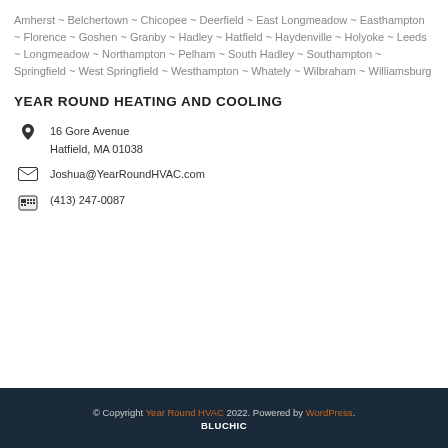Amherst ~ Belchertown ~ Chicopee ~ Deerfield ~ East Longmeadow ~ Easthampton ~ Florence ~ Goshen ~ Granby ~ Hadley ~ Hatfield ~ Haydenville ~ Holyoke ~ Leeds ~ Longmeadow ~ Northampton ~ Pelham ~ South Hadley ~ Southampton ~ Springfield ~ West Springfield ~ Westhampton ~ Whately ~ Wilbraham ~ Williamsburg
YEAR ROUND HEATING AND COOLING
16 Gore Avenue
Hatfield, MA 01038
Joshua@YearRoundHVAC.com
(413) 247-0087
© Copyright Year Round HVAC 2022. Powered by WordPress. BLUCHIC